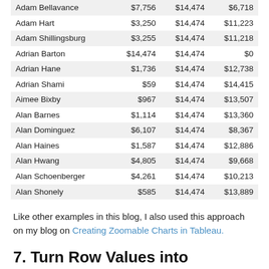| Adam Bellavance | $7,756 | $14,474 | $6,718 |
| Adam Hart | $3,250 | $14,474 | $11,223 |
| Adam Shillingsburg | $3,255 | $14,474 | $11,218 |
| Adrian Barton | $14,474 | $14,474 | $0 |
| Adrian Hane | $1,736 | $14,474 | $12,738 |
| Adrian Shami | $59 | $14,474 | $14,415 |
| Aimee Bixby | $967 | $14,474 | $13,507 |
| Alan Barnes | $1,114 | $14,474 | $13,360 |
| Alan Dominguez | $6,107 | $14,474 | $8,367 |
| Alan Haines | $1,587 | $14,474 | $12,886 |
| Alan Hwang | $4,805 | $14,474 | $9,668 |
| Alan Schoenberger | $4,261 | $14,474 | $10,213 |
| Alan Shonely | $585 | $14,474 | $13,889 |
Like other examples in this blog, I also used this approach on my blog on Creating Zoomable Charts in Tableau.
7. Turn Row Values into Measures
Tableau generally works best when your data is